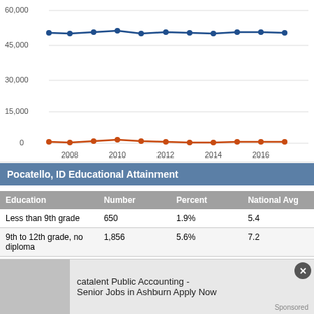[Figure (line-chart): ]
Pocatello, ID Educational Attainment
| Education | Number | Percent | National Avg |
| --- | --- | --- | --- |
| Less than 9th grade | 650 | 1.9% | 5.4 |
| 9th to 12th grade, no diploma | 1,856 | 5.6% | 7.2 |
| High school graduate (includes equivalen… | 8,850 | 26.5% | 27.2 |
| Some college, n… |  |  |  |